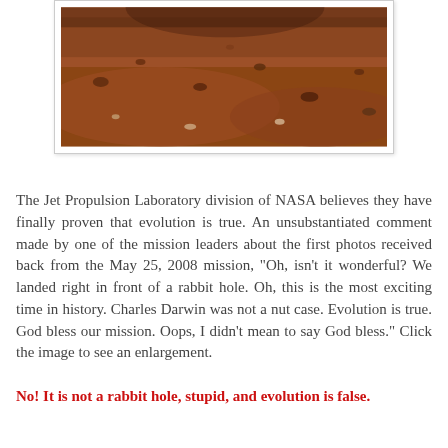[Figure (photo): Cropped photo of the Mars surface showing reddish-brown rocky soil, partially visible at the top of the page within a white-bordered frame.]
The Jet Propulsion Laboratory division of NASA believes they have finally proven that evolution is true. An unsubstantiated comment made by one of the mission leaders about the first photos received back from the May 25, 2008 mission, "Oh, isn't it wonderful? We landed right in front of a rabbit hole. Oh, this is the most exciting time in history. Charles Darwin was not a nut case. Evolution is true. God bless our mission. Oops, I didn't mean to say God bless." Click the image to see an enlargement.
No! It is not a rabbit hole, stupid, and evolution is false.